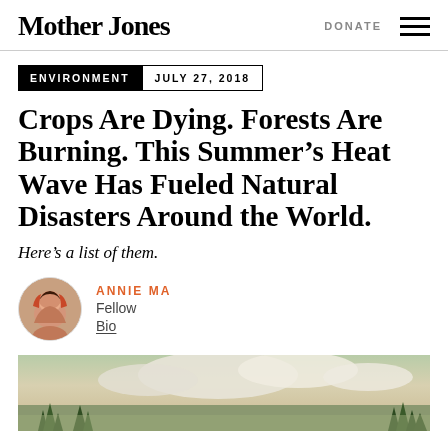Mother Jones | DONATE
ENVIRONMENT | JULY 27, 2018
Crops Are Dying. Forests Are Burning. This Summer's Heat Wave Has Fueled Natural Disasters Around the World.
Here's a list of them.
ANNIE MA
Fellow
Bio
[Figure (photo): Outdoor landscape photo showing trees and clouds, hero image for the article]